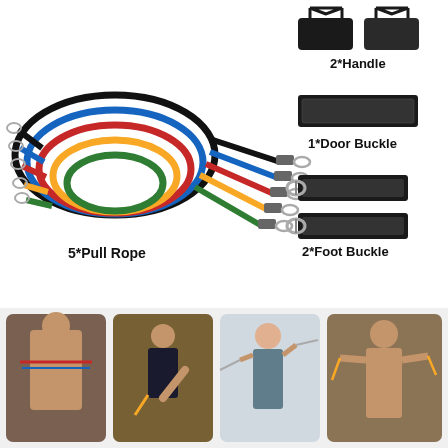[Figure (photo): Product image showing resistance band set contents: 5 colorful pull ropes coiled together on left, 2 handles, 1 door buckle, and 2 foot buckles on right, with labels. Bottom row shows 4 photos of people exercising with resistance bands.]